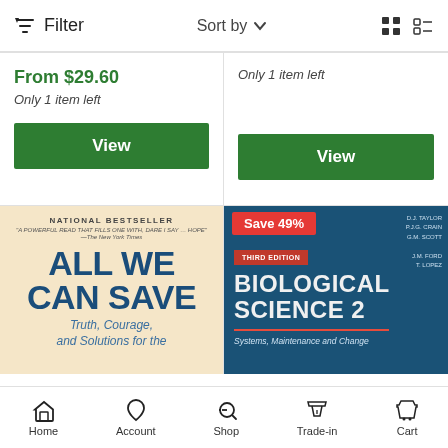Filter   Sort by   [grid view] [list view]
From $29.60
Only 1 item left
View
Only 1 item left
View
[Figure (photo): Book cover: All We Can Save – Truth, Courage, and Solutions for the (Climate Crisis). National Bestseller. Yellow/orange sunburst background with large blue text.]
[Figure (photo): Book cover: Biological Science 2, Third Edition. Dark blue cover with red square badge and gold/white title text. Save 49% badge in red at top.]
Home   Account   Shop   Trade-in   Cart